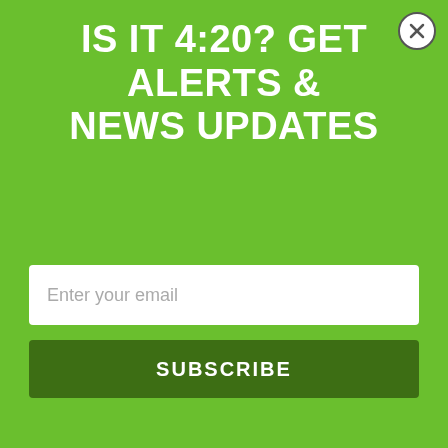IS IT 4:20? GET ALERTS & NEWS UPDATES
Enter your email
SUBSCRIBE
at my age I would either.” Debbie quit smoking cigarettes 20 years ago so she is adamant about keeping smoke out of her lungs. “Pot pills don’t do that at all,” she says.
Debbie and Harold believe it’s the cannabis pills that is healing them both. Admittedly, they say it could be radiation or chemotherapy, but the timeline of medications shows huge improvements in health once marijuana was introduced into their routine as a medicine.
Marijuana pills are an untapped product in the legal marketplace.